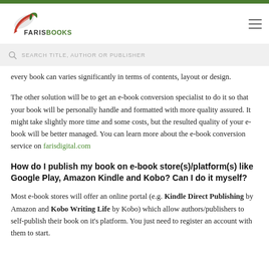FARIS BOOKS
every book can varies significantly in terms of contents, layout or design.
The other solution will be to get an e-book conversion specialist to do it so that your book will be personally handle and formatted with more quality assured. It might take slightly more time and some costs, but the resulted quality of your e-book will be better managed. You can learn more about the e-book conversion service on farisdigital.com
How do I publish my book on e-book store(s)/platform(s) like Google Play, Amazon Kindle and Kobo? Can I do it myself?
Most e-book stores will offer an online portal (e.g. Kindle Direct Publishing by Amazon and Kobo Writing Life by Kobo) which allow authors/publishers to self-publish their book on it's platform. You just need to register an account with them to start.